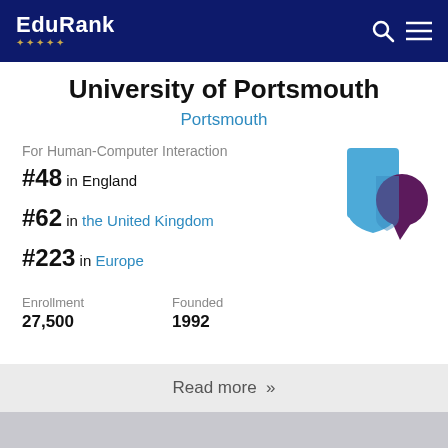EduRank
University of Portsmouth
Portsmouth
For Human-Computer Interaction
#48 in England
#62 in the United Kingdom
#223 in Europe
[Figure (logo): University of Portsmouth logo: overlapping blue shield and purple speech bubble shapes]
| Enrollment | Founded |
| --- | --- |
| 27,500 | 1992 |
Read more »